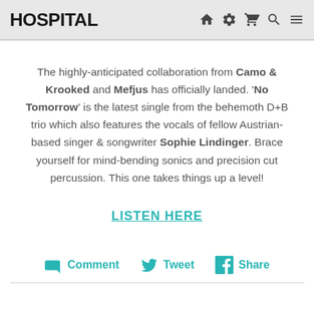HOSPITAL
The highly-anticipated collaboration from Camo & Krooked and Mefjus has officially landed. ‘No Tomorrow’ is the latest single from the behemoth D+B trio which also features the vocals of fellow Austrian-based singer & songwriter Sophie Lindinger. Brace yourself for mind-bending sonics and precision cut percussion. This one takes things up a level!
LISTEN HERE
Comment  Tweet  Share